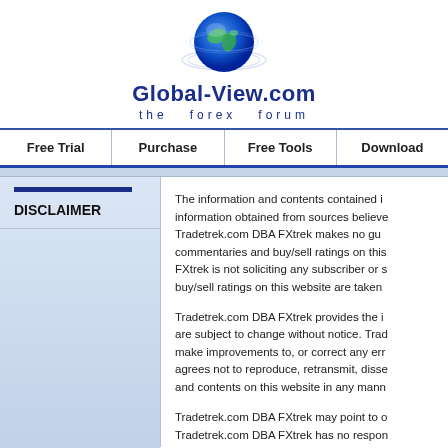Global-View.com the forex forum
Free Trial | Purchase | Free Tools | Download
DISCLAIMER
The information and contents contained in information obtained from sources believe Tradetrek.com DBA FXtrek makes no gu commentaries and buy/sell ratings on this FXtrek is not soliciting any subscriber or s buy/sell ratings on this website are taken
Tradetrek.com DBA FXtrek provides the i are subject to change without notice. Tra make improvements to, or correct any err agrees not to reproduce, retransmit, diss and contents on this website in any mann
Tradetrek.com DBA FXtrek may point to Tradetrek.com DBA FXtrek has no respo DBA FXtrek does not represent or endors distributed through, or linked, downloaded and does not guarantee the quality or reli advertisement or any other information di